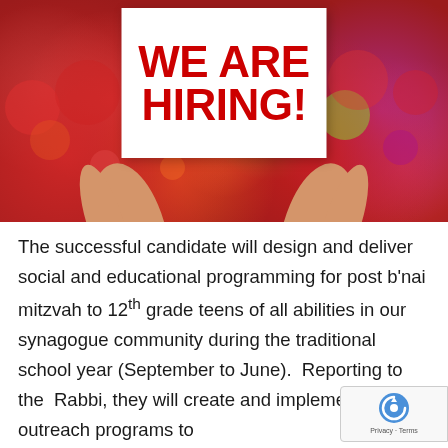[Figure (photo): Photo of two hands holding up a white sign that reads 'WE ARE HIRING!' in large bold red letters, against a colorful bokeh background with red and green circles]
The successful candidate will design and deliver social and educational programming for post b'nai mitzvah to 12th grade teens of all abilities in our synagogue community during the traditional school year (September to June).  Reporting to the  Rabbi, they will create and implement outreach programs to engage Jewish teens in the greater Waltham area